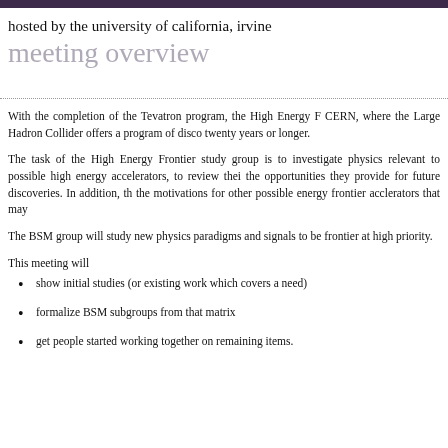hosted by the university of california, irvine
meeting overview
With the completion of the Tevatron program, the High Energy F CERN, where the Large Hadron Collider offers a program of disco twenty years or longer.
The task of the High Energy Frontier study group is to investigate physics relevant to possible high energy accelerators, to review thei the opportunities they provide for future discoveries. In addition, th the motivations for other possible energy frontier acclerators that may
The BSM group will study new physics paradigms and signals to be frontier at high priority.
This meeting will
show initial studies (or existing work which covers a need)
formalize BSM subgroups from that matrix
get people started working together on remaining items.